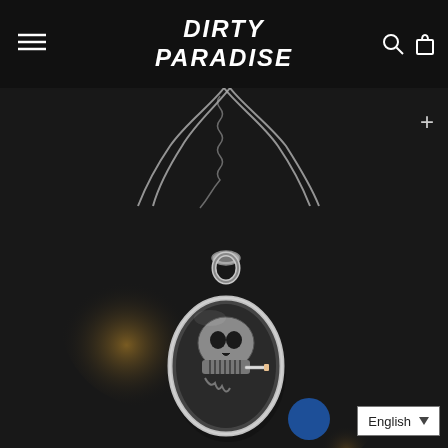Dirty Paradise
[Figure (photo): A silver skull pendant on a twisted rope chain necklace, photographed on a dark bokeh background with warm golden light blur. The oval pendant features a detailed skull smoking a cigarette design, rendered in oxidized silver.]
English